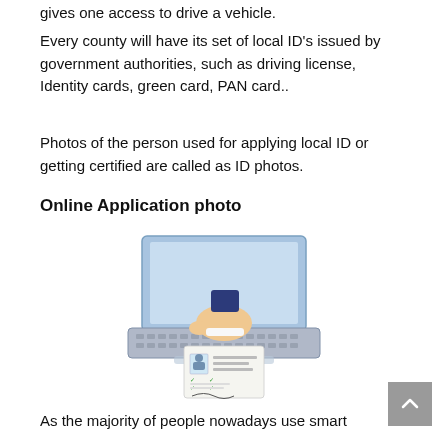gives one access to drive a vehicle.
Every county will have its set of local ID's issued by government authorities, such as driving license, Identity cards, green card, PAN card..
Photos of the person used for applying local ID or getting certified are called as ID photos.
Online Application photo
[Figure (illustration): Illustration of a hand holding an ID/application document in front of a laptop keyboard, with a document showing a person's photo and checkmarks]
As the majority of people nowadays use smart